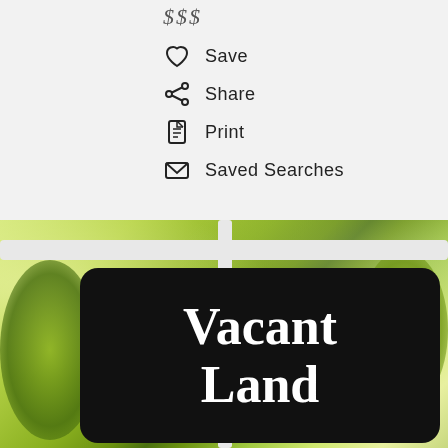$$$
Save
Share
Print
Saved Searches
[Figure (photo): Outdoor photo of a 'Vacant Land' real estate sign on a white post, surrounded by green foliage and wildflowers]